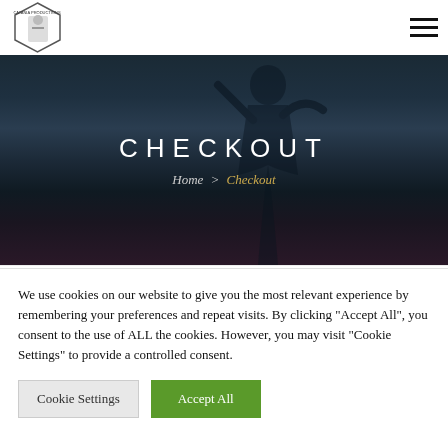[Figure (logo): Hexagonal logo with text 'CATANIA PRODUCTIONS' and an illustrated figure inside]
[Figure (photo): Dark hero banner with silhouette of a person against a dusk/twilight sky with mountains]
CHECKOUT
Home > Checkout
[ ... breadcrumb ... ]
We use cookies on our website to give you the most relevant experience by remembering your preferences and repeat visits. By clicking "Accept All", you consent to the use of ALL the cookies. However, you may visit "Cookie Settings" to provide a controlled consent.
Cookie Settings
Accept All